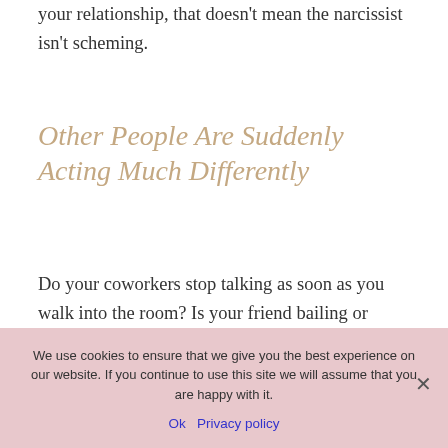your relationship, that doesn't mean the narcissist isn't scheming.
Other People Are Suddenly Acting Much Differently
Do your coworkers stop talking as soon as you walk into the room? Is your friend bailing or ghosting you all of a sudden?
We use cookies to ensure that we give you the best experience on our website. If you continue to use this site we will assume that you are happy with it.
Ok   Privacy policy